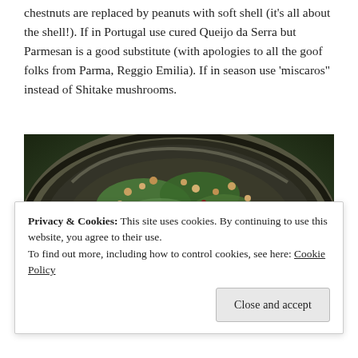chestnuts are replaced by peanuts with soft shell (it's all about the shell!). If in Portugal use cured Queijo da Serra but Parmesan is a good substitute (with apologies to all the goof folks from Parma, Reggio Emilia). If in season use 'miscaros" instead of Shitake mushrooms.
[Figure (photo): Overhead photo of a dark rustic bowl containing a food dish with green vegetables, chopped nuts/peanuts, sliced meat or cheese, and various garnishes on a dark stone or wooden surface.]
Privacy & Cookies: This site uses cookies. By continuing to use this website, you agree to their use.
To find out more, including how to control cookies, see here: Cookie Policy
Close and accept